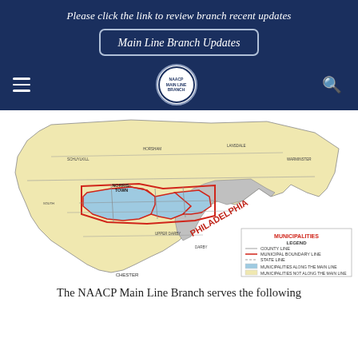Please click the link to review branch recent updates
Main Line Branch Updates
[Figure (logo): NAACP Main Line Branch circular logo]
[Figure (map): Map of Chester County / Greater Philadelphia area showing municipalities served by the NAACP Main Line Branch. Blue areas with red boundary indicate municipalities along the Main Line. Gray areas show Philadelphia. Yellow areas show other municipalities. Legend shows county line, municipal boundary line, state line, municipalities along the main line (blue), and municipalities not along the main line.]
The NAACP Main Line Branch serves the following